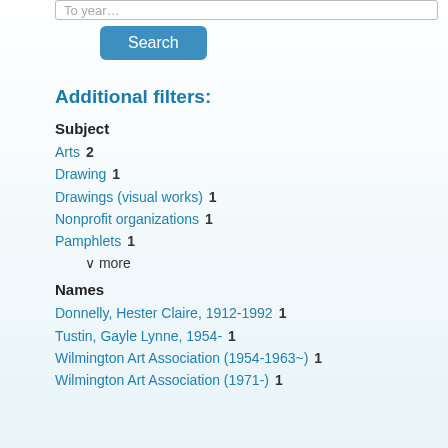[Figure (screenshot): Partial search input box at top of page showing placeholder text]
[Figure (screenshot): Blue Search button]
Additional filters:
Subject
Arts   2
Drawing   1
Drawings (visual works)   1
Nonprofit organizations   1
Pamphlets   1
∨  more
Names
Donnelly, Hester Claire, 1912-1992   1
Tustin, Gayle Lynne, 1954-   1
Wilmington Art Association (1954-1963~)   1
Wilmington Art Association (1971-)   1